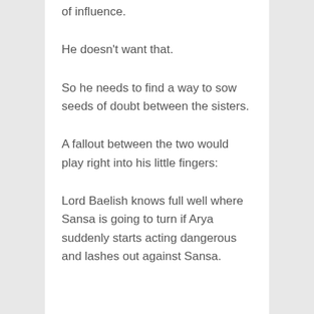of influence.
He doesn't want that.
So he needs to find a way to sow seeds of doubt between the sisters.
A fallout between the two would play right into his little fingers:
Lord Baelish knows full well where Sansa is going to turn if Arya suddenly starts acting dangerous and lashes out against Sansa.